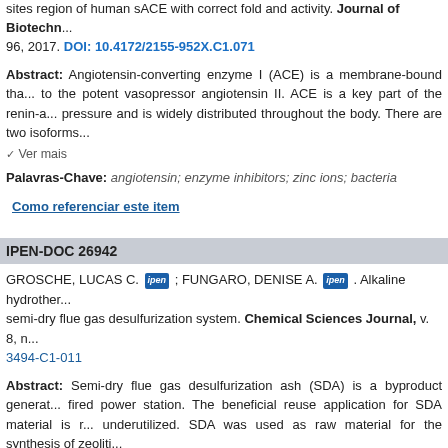sites region of human sACE with correct fold and activity. Journal of Biotechn... 96, 2017. DOI: 10.4172/2155-952X.C1.071
Abstract: Angiotensin-converting enzyme I (ACE) is a membrane-bound tha... to the potent vasopressor angiotensin II. ACE is a key part of the renin-a... pressure and is widely distributed throughout the body. There are two isoforms...
Ver mais
Palavras-Chave: angiotensin; enzyme inhibitors; zinc ions; bacteria
Como referenciar este item
IPEN-DOC 26942
GROSCHE, LUCAS C. [ipen] ; FUNGARO, DENISE A. [ipen] . Alkaline hydrother... semi-dry flue gas desulfurization system. Chemical Sciences Journal, v. 8, n... 3494-C1-011
Abstract: Semi-dry flue gas desulfurization ash (SDA) is a byproduct generat... fired power station. The beneficial reuse application for SDA material is r... underutilized. SDA was used as raw material for the synthesis of zeoliti...
Ver mais
Palavras-Chave: hydrothermal synthesis; acid neutralizing capacity; hydroth... desulfurization; flue gas